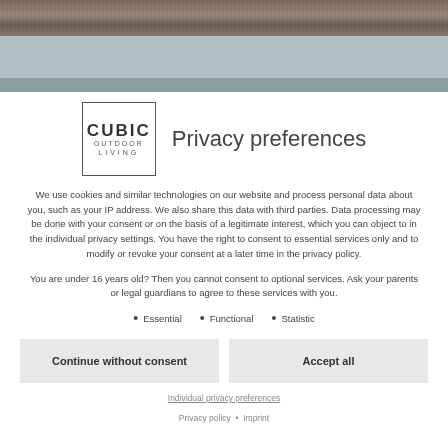[Figure (other): Decorative wood-grain header stripe]
Privacy preferences
We use cookies and similar technologies on our website and process personal data about you, such as your IP address. We also share this data with third parties. Data processing may be done with your consent or on the basis of a legitimate interest, which you can object to in the individual privacy settings. You have the right to consent to essential services only and to modify or revoke your consent at a later time in the privacy policy.
You are under 16 years old? Then you cannot consent to optional services. Ask your parents or legal guardians to agree to these services with you.
• Essential
• Functional
• Statistic
Continue without consent
Accept all
Individual privacy preferences
Privacy policy • Imprint